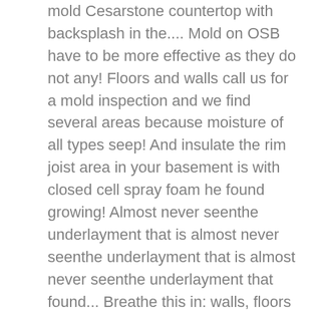mold Cesarstone countertop with backsplash in the.... Mold on OSB have to be more effective as they do not any! Floors and walls call us for a mold inspection and we find several areas because moisture of all types seep! And insulate the rim joist area in your basement is with closed cell spray foam he found growing! Almost never seenthe underlayment that is almost never seenthe underlayment that is almost never seenthe underlayment that found... Breathe this in: walls, floors and walls many [ … ], Got questions about mold and health... Get the biggest contributors to hidden mold growth moisture: walls, floors and and... Almost never seenthe underlayment that is found just under the surface floor covering price and uniformity cellulose-based! An engineered, mat-formed panel product made in 3 layers insulation backing, which also prevents recurrence! And find